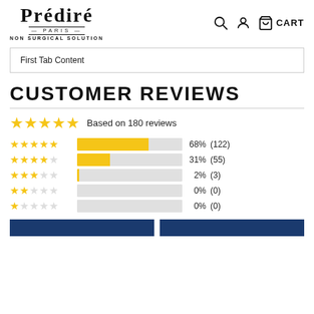[Figure (logo): Prédiré Paris Non Surgical Solution logo with navigation icons (search, account, cart)]
First Tab Content
CUSTOMER REVIEWS
[Figure (infographic): 5 gold stars overall rating, Based on 180 reviews, with rating breakdown bars: 5 stars 68% (122), 4 stars 31% (55), 3 stars 2% (3), 2 stars 0% (0), 1 star 0% (0)]